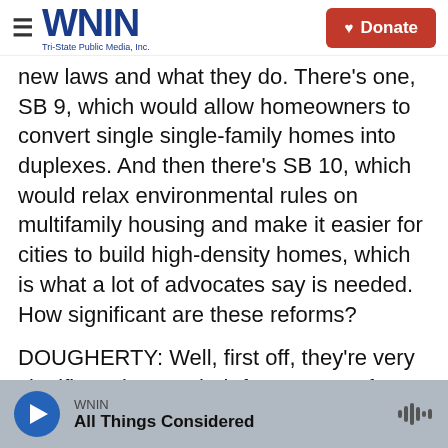WNIN – Tri-State Public Media, Inc. | Donate
new laws and what they do. There's one, SB 9, which would allow homeowners to convert single single-family homes into duplexes. And then there's SB 10, which would relax environmental rules on multifamily housing and make it easier for cities to build high-density homes, which is what a lot of advocates say is needed. How significant are these reforms?
DOUGHERTY: Well, first off, they're very significant just on their face. Report from the Terner Center estimates that this SB 9 would add about 700,000 new units. Now, that's not enough to solve the
WNIN – All Things Considered